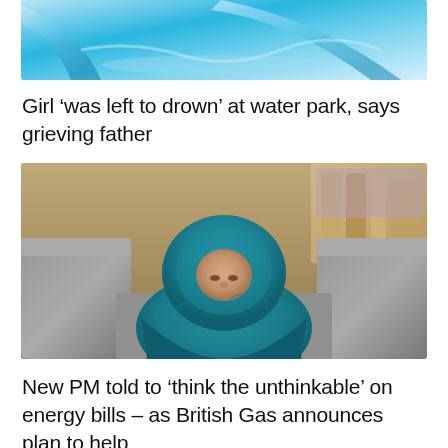[Figure (photo): Top portion of a water park photo with blue water slides and water, cropped]
Girl ‘was left to drown’ at water park, says grieving father
[Figure (photo): A person sitting on a grey sofa wrapped in a large teal/blue blanket over their head and body, looking downward. Background shows a living room with furniture.]
New PM told to ‘think the unthinkable’ on energy bills – as British Gas announces plan to help